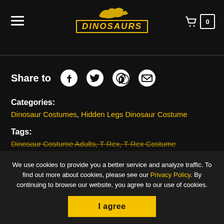[Figure (logo): Dinosaurs website logo with dinosaur silhouette and stylized yellow DINOSAURS text]
Share to
Categories:
Dinosaur Costumes, Hidden Legs Dinosaur Costume
Tags:
Dinosaur Costume Adults, T-Rex, T-Rex Costume
We use cookies to provide you a better service and analyze traffic. To find out more about cookies, please see our Privacy Policy. By continuing to browse our website, you agree to our use of cookies.